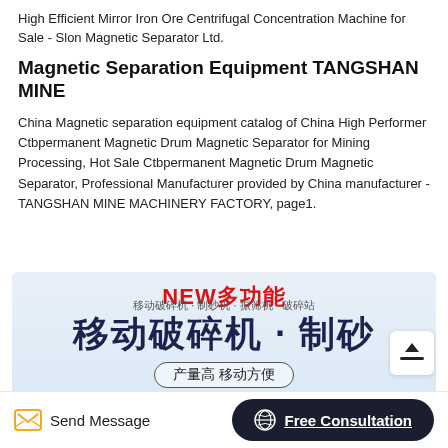High Efficient Mirror Iron Ore Centrifugal Concentration Machine for Sale - Slon Magnetic Separator Ltd.
Magnetic Separation Equipment TANGSHAN MINE
China Magnetic separation equipment catalog of China High Performer Ctbpermanent Magnetic Drum Magnetic Separator for Mining Processing, Hot Sale Ctbpermanent Magnetic Drum Magnetic Separator, Professional Manufacturer provided by China manufacturer - TANGSHAN MINE MACHINERY FACTORY, page1.
[Figure (illustration): Advertisement banner with Chinese text. Red bold text reads 'NEW多功能' (NEW multi-function). Large dark navy Chinese text reads '移动破碎机·制砂' (Mobile Crusher · Sand Making). A pill-shaped button reads '产量高 移动方便' (High output, convenient mobility). Light blue gradient background. A partially visible upload icon button on the right side.]